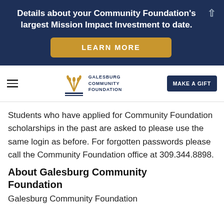Details about your Community Foundation's largest Mission Impact Investment to date.
LEARN MORE
[Figure (logo): Galesburg Community Foundation logo with stylized wheat/fan icon and text GALESBURG COMMUNITY FOUNDATION]
MAKE A GIFT
Students who have applied for Community Foundation scholarships in the past are asked to please use the same login as before. For forgotten passwords please call the Community Foundation office at 309.344.8898.
About Galesburg Community Foundation
Galesburg Community Foundation